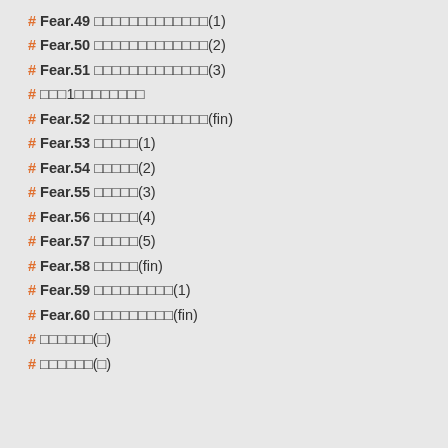# Fear.49 □□□□□□□□□□□□□(1)
# Fear.50 □□□□□□□□□□□□□(2)
# Fear.51 □□□□□□□□□□□□□(3)
# □□□1□□□□□□□□
# Fear.52 □□□□□□□□□□□□□(fin)
# Fear.53 □□□□□(1)
# Fear.54 □□□□□(2)
# Fear.55 □□□□□(3)
# Fear.56 □□□□□(4)
# Fear.57 □□□□□(5)
# Fear.58 □□□□□(fin)
# Fear.59 □□□□□□□□□(1)
# Fear.60 □□□□□□□□□(fin)
# □□□□□□(□)
# □□□□□□(□)